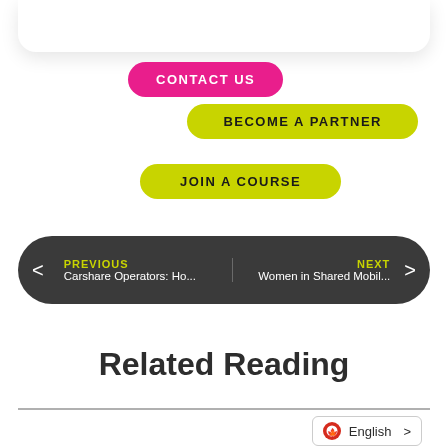CONTACT US
BECOME A PARTNER
JOIN A COURSE
PREVIOUS
Carshare Operators: Ho...
NEXT
Women in Shared Mobil...
Related Reading
English